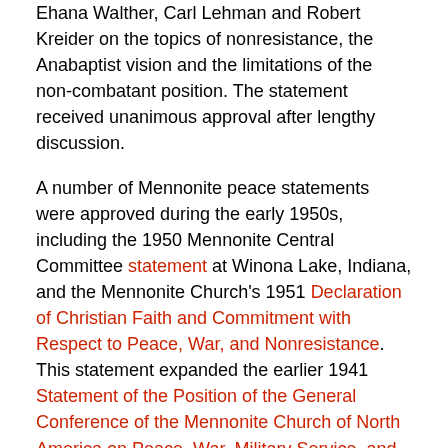Ehana Walther, Carl Lehman and Robert Kreider on the topics of nonresistance, the Anabaptist vision and the limitations of the non-combatant position. The statement received unanimous approval after lengthy discussion.
A number of Mennonite peace statements were approved during the early 1950s, including the 1950 Mennonite Central Committee statement at Winona Lake, Indiana, and the Mennonite Church's 1951 Declaration of Christian Faith and Commitment with Respect to Peace, War, and Nonresistance. This statement expanded the earlier 1941 Statement of the Position of the General Conference of the Mennonite Church of North America on Peace, War, Military Service, and Patriotism approved during World War II.
Bibliography
Reports and official minutes of the thirty-third session of the General Conference Mennonite Church held at